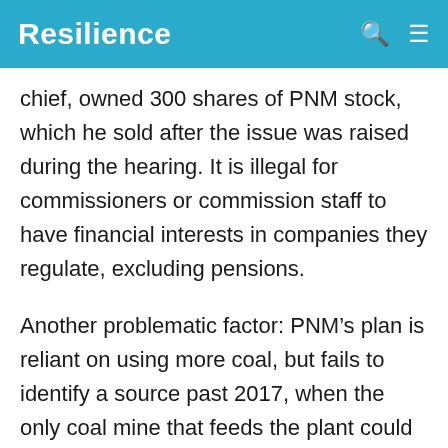Resilience
chief, owned 300 shares of PNM stock, which he sold after the issue was raised during the hearing. It is illegal for commissioners or commission staff to have financial interests in companies they regulate, excluding pensions.
Another problematic factor: PNM’s plan is reliant on using more coal, but fails to identify a source past 2017, when the only coal mine that feeds the plant could shut